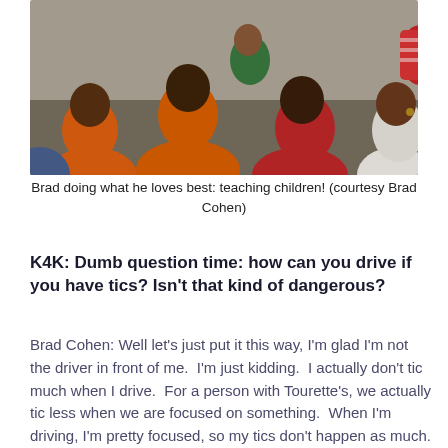[Figure (photo): Children seated on the floor from behind, wearing colorful shirts (orange, red, green, striped). A teacher appears to be at the front. Photo taken from behind the students.]
Brad doing what he loves best: teaching children! (courtesy Brad Cohen)
K4K: Dumb question time: how can you drive if you have tics? Isn't that kind of dangerous?
Brad Cohen: Well let's just put it this way, I'm glad I'm not the driver in front of me.  I'm just kidding.  I actually don't tic much when I drive.  For a person with Tourette's, we actually tic less when we are focused on something.  When I'm driving, I'm pretty focused, so my tics don't happen as much.